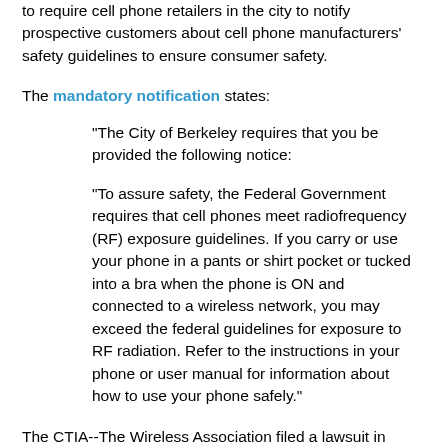to require cell phone retailers in the city to notify prospective customers about cell phone manufacturers' safety guidelines to ensure consumer safety.
The mandatory notification states:
"The City of Berkeley requires that you be provided the following notice:

“To assure safety, the Federal Government requires that cell phones meet radiofrequency (RF) exposure guidelines. If you carry or use your phone in a pants or shirt pocket or tucked into a bra when the phone is ON and connected to a wireless network, you may exceed the federal guidelines for exposure to RF radiation. Refer to the instructions in your phone or user manual for information about how to use your phone safely.”
The CTIA--The Wireless Association filed a lawsuit in June, 2015, a month after the law was adopted, to block the ordinance claiming that it violated the Telecom industry's First Amendment rights and that the notification was